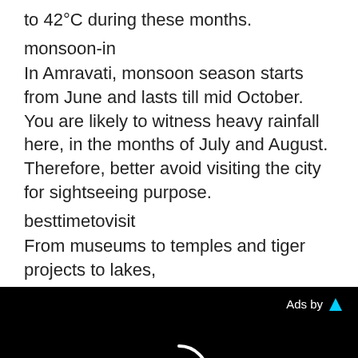to 42°C during these months.
monsoon-in
In Amravati, monsoon season starts from June and lasts till mid October. You are likely to witness heavy rainfall here, in the months of July and August. Therefore, better avoid visiting the city for sightseeing purpose.
besttimetovisit
From museums to temples and tiger projects to lakes,
[Figure (screenshot): Black advertisement panel with 'Ads by' label and a cyan triangle logo in top-right corner, and a white loading spinner circle in the center]